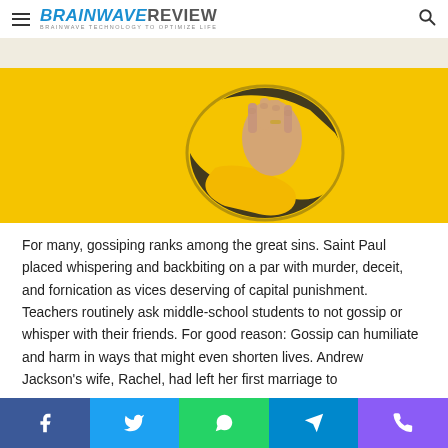BRAINWAVE REVIEW — BRAINWAVE TECHNOLOGY TO OPTIMIZE LIFE
[Figure (photo): Yellow torn paper with hands reaching through, hero image on article about gossip]
For many, gossiping ranks among the great sins. Saint Paul placed whispering and backbiting on a par with murder, deceit, and fornication as vices deserving of capital punishment. Teachers routinely ask middle-school students to not gossip or whisper with their friends. For good reason: Gossip can humiliate and harm in ways that might even shorten lives. Andrew Jackson's wife, Rachel, had left her first marriage to
Facebook  Twitter  WhatsApp  Telegram  Viber